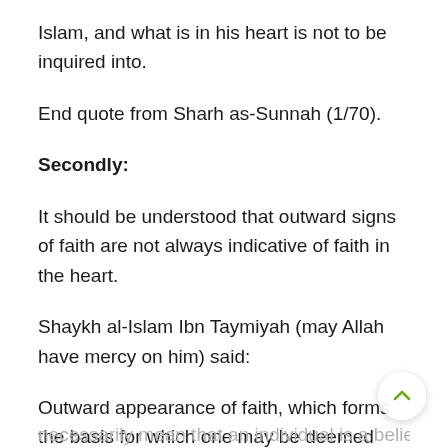Islam, and what is in his heart is not to be inquired into.
End quote from Sharh as-Sunnah (1/70).
Secondly:
It should be understood that outward signs of faith are not always indicative of faith in the heart.
Shaykh al-Islam Ibn Taymiyah (may Allah have mercy on him) said:
Outward appearance of faith, which forms the basis for which one may be deemed Muslim and subject to the rulings of Islam in this world, does not necessarily mean that an individual is a believer in his…